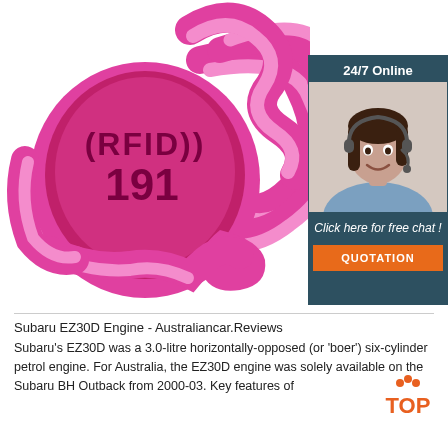[Figure (photo): Pink RFID wristband with number 191 printed on it, shown on white background]
[Figure (photo): Chat widget with '24/7 Online' header, customer service representative wearing headset, 'Click here for free chat!' text and orange QUOTATION button, dark teal background]
Subaru EZ30D Engine - Australiancar.Reviews
Subaru's EZ30D was a 3.0-litre horizontally-opposed (or 'boxer') six-cylinder petrol engine. For Australia, the EZ30D engine was solely available on the Subaru BH Outback from 2000-03. Key features of
[Figure (logo): TOP logo in orange/red with decorative dots above the letters]